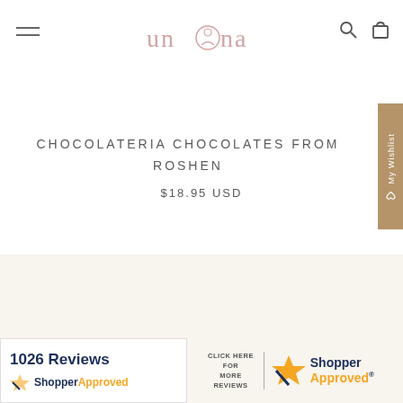unona
CHOCOLATERIA CHOCOLATES FROM ROSHEN
$18.95 USD
1026 Reviews
[Figure (logo): Shopper Approved logo with star icon - left widget]
CLICK HERE FOR MORE REVIEWS
[Figure (logo): Shopper Approved logo with star icon - right widget]